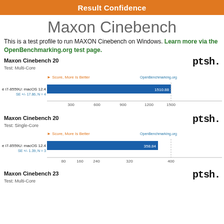Result Confidence
Maxon Cinebench
This is a test profile to run MAXON Cinebench on Windows. Learn more via the OpenBenchmarking.org test page.
Maxon Cinebench 20
Test: Multi-Core
[Figure (bar-chart): Maxon Cinebench 20 - Multi-Core]
Maxon Cinebench 20
Test: Single-Core
[Figure (bar-chart): Maxon Cinebench 20 - Single-Core]
Maxon Cinebench 23
Test: Multi-Core